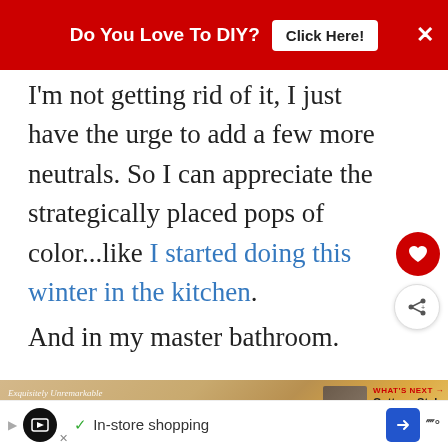[Figure (screenshot): Red advertisement banner with text 'Do You Love To DIY?' and a white 'Click Here!' button and X close button]
I'm not getting rid of it, I just have the urge to add a few more neutrals. So I can appreciate the strategically placed pops of color...like I started doing this winter in the kitchen.
And in my master bathroom.
[Figure (screenshot): Partially visible bathroom photo strip labeled 'Exquisitely Unremarkable' with gold/tan tones and a 'WHAT'S NEXT' overlay showing 'Cottage Style Family Room']
[Figure (screenshot): Bottom advertisement bar with shopping icons, 'In-store shopping' text, navigation arrow and weather indicator]